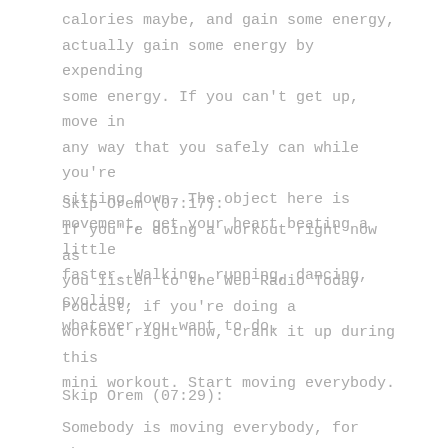calories maybe, and gain some energy, actually gain some energy by expending some energy. If you can't get up, move in any way that you safely can while you're sitting down. The object here is movement, get your heart beating a little faster. Walking, running, dancing, cycling, whatever you want to do.
Skip Orem (07:17):
If you're doing a workout right now as you listen to the Web Radio Today Podcast, if you're doing a
workout right now, crank it up during this mini workout. Start moving everybody.
Skip Orem (07:29):
Somebody is moving everybody, for the...